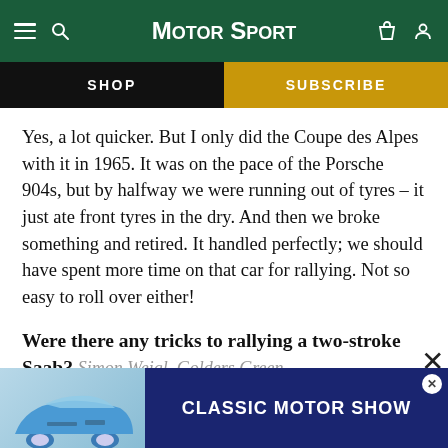Motor Sport
Yes, a lot quicker. But I only did the Coupe des Alpes with it in 1965. It was on the pace of the Porsche 904s, but by halfway we were running out of tyres – it just ate front tyres in the dry. And then we broke something and retired. It handled perfectly; we should have spent more time on that car for rallying. Not so easy to roll over either!
Were there any tricks to rallying a two-stroke Saab? Simon Weigl, Golders Green
[Figure (screenshot): Classic Motor Show advertisement banner with a blue Porsche 911 image on the left and dark blue background with 'CLASSIC MOTOR SHOW' text on the right]